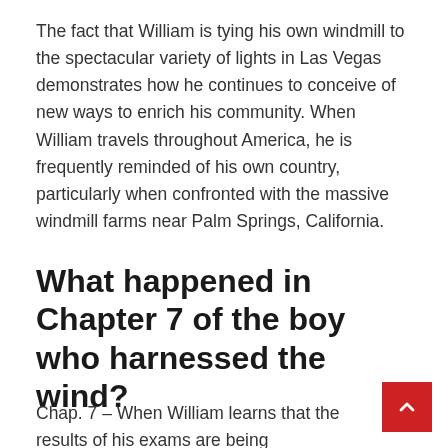The fact that William is tying his own windmill to the spectacular variety of lights in Las Vegas demonstrates how he continues to conceive of new ways to enrich his community. When William travels throughout America, he is frequently reminded of his own country, particularly when confronted with the massive windmill farms near Palm Springs, California.
What happened in Chapter 7 of the boy who harnessed the wind?
Chap. 7 – When William learns that the results of his exams are being announced, he